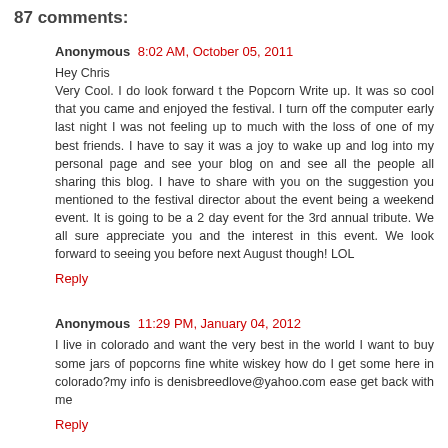87 comments:
Anonymous  8:02 AM, October 05, 2011
Hey Chris
Very Cool. I do look forward t the Popcorn Write up. It was so cool that you came and enjoyed the festival. I turn off the computer early last night I was not feeling up to much with the loss of one of my best friends. I have to say it was a joy to wake up and log into my personal page and see your blog on and see all the people all sharing this blog. I have to share with you on the suggestion you mentioned to the festival director about the event being a weekend event. It is going to be a 2 day event for the 3rd annual tribute. We all sure appreciate you and the interest in this event. We look forward to seeing you before next August though! LOL
Reply
Anonymous  11:29 PM, January 04, 2012
I live in colorado and want the very best in the world I want to buy some jars of popcorns fine white wiskey how do I get some here in colorado?my info is denisbreedlove@yahoo.com ease get back with me
Reply